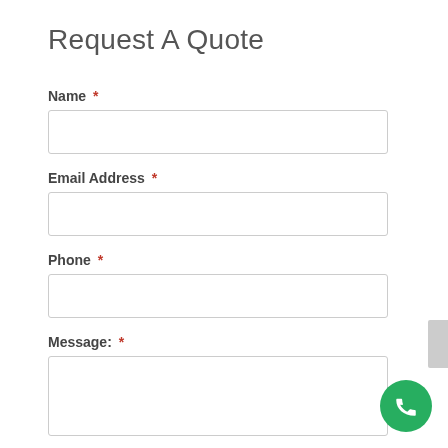Request A Quote
Name *
Email Address *
Phone *
Message: *